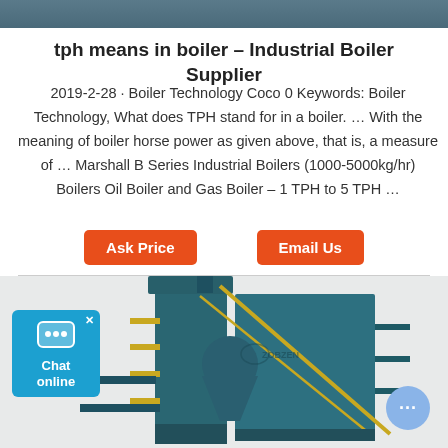[Figure (photo): Top banner image showing industrial boiler equipment in dark teal/grey tones]
tph means in boiler – Industrial Boiler Supplier
2019-2-28 · Boiler Technology Coco 0 Keywords: Boiler Technology, What does TPH stand for in a boiler. … With the meaning of boiler horse power as given above, that is, a measure of … Marshall B Series Industrial Boilers (1000-5000kg/hr) Boilers Oil Boiler and Gas Boiler – 1 TPH to 5 TPH …
[Figure (photo): 3D rendering of a large industrial boiler system in teal/dark color with yellow scaffolding and ladders, showing tall vertical structure with cyclone separator]
[Figure (photo): Chat online widget in blue on left side]
[Figure (photo): Chat bubble icon in bottom right corner]